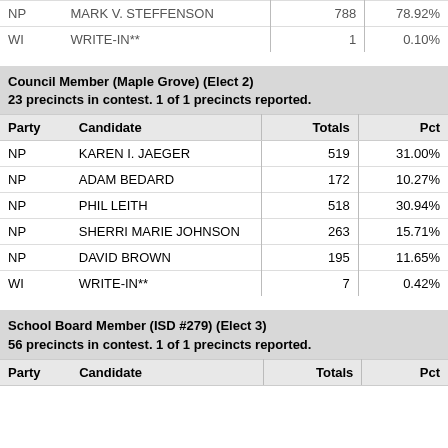| Party | Candidate | Totals | Pct |
| --- | --- | --- | --- |
| NP | MARK V. STEFFENSON | 788 | 78.92% |
| WI | WRITE-IN** | 1 | 0.10% |
Council Member (Maple Grove) (Elect 2)
23 precincts in contest. 1 of 1 precincts reported.
| Party | Candidate | Totals | Pct |
| --- | --- | --- | --- |
| NP | KAREN I. JAEGER | 519 | 31.00% |
| NP | ADAM BEDARD | 172 | 10.27% |
| NP | PHIL LEITH | 518 | 30.94% |
| NP | SHERRI MARIE JOHNSON | 263 | 15.71% |
| NP | DAVID BROWN | 195 | 11.65% |
| WI | WRITE-IN** | 7 | 0.42% |
School Board Member (ISD #279) (Elect 3)
56 precincts in contest. 1 of 1 precincts reported.
| Party | Candidate | Totals | Pct |
| --- | --- | --- | --- |